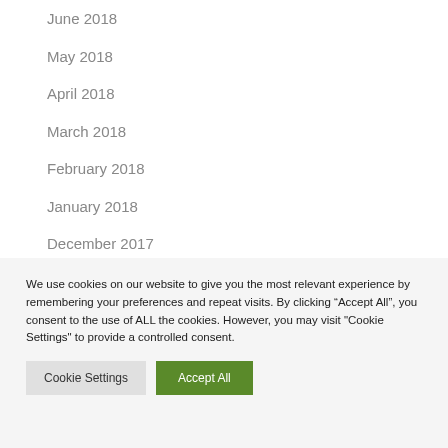June 2018
May 2018
April 2018
March 2018
February 2018
January 2018
December 2017
November 2017
October 2017
We use cookies on our website to give you the most relevant experience by remembering your preferences and repeat visits. By clicking “Accept All”, you consent to the use of ALL the cookies. However, you may visit "Cookie Settings" to provide a controlled consent.
Cookie Settings | Accept All